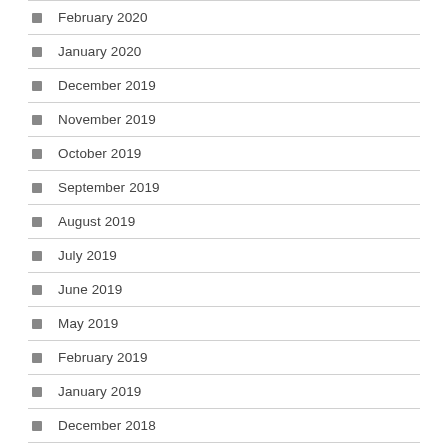February 2020
January 2020
December 2019
November 2019
October 2019
September 2019
August 2019
July 2019
June 2019
May 2019
February 2019
January 2019
December 2018
November 2018
October 2018